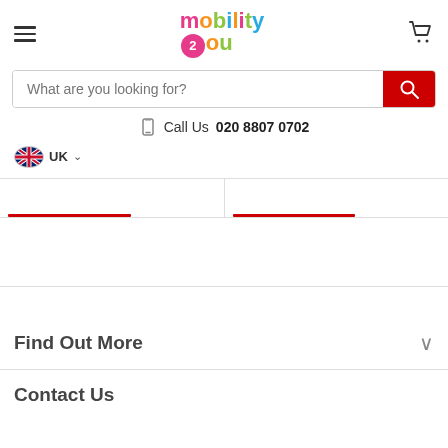mobility2you — navigation header with logo, hamburger menu, cart
What are you looking for?
Call Us 020 8807 0702
UK
Find Out More
Contact Us